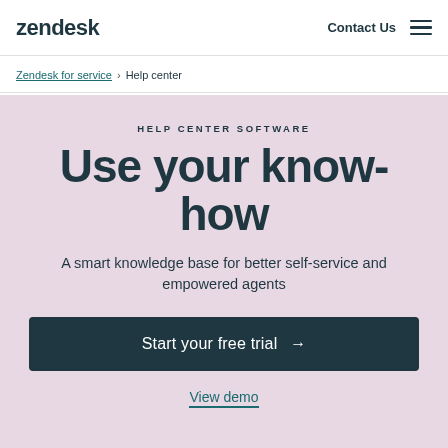zendesk | Contact Us ☰
Zendesk for service > Help center
HELP CENTER SOFTWARE
Use your know-how
A smart knowledge base for better self-service and empowered agents
Start your free trial →
View demo